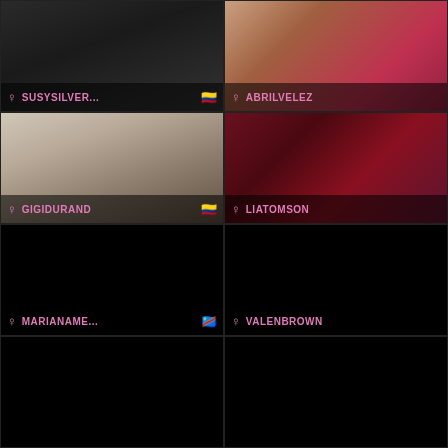[Figure (photo): Profile card for SUSYSILVER... with female symbol and Colombian flag]
[Figure (photo): Profile card for ABRILVELEZ with female symbol]
[Figure (photo): Profile card for GIGIDURAND with female symbol and Colombian flag]
[Figure (photo): Profile card for LIATOMSON with female symbol]
[Figure (photo): Profile card for MARIANAME... with female symbol and DR Congo flag, black background]
[Figure (photo): Profile card for VALENBROWN with female symbol, black background]
[Figure (photo): Bottom left profile card, black background]
[Figure (photo): Bottom right profile card, black background]